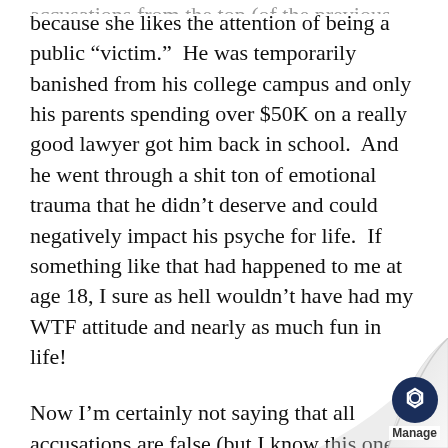because she likes the attention of being a public “victim.”  He was temporarily banished from his college campus and only his parents spending over $50K on a really good lawyer got him back in school.  And he went through a shit ton of emotional trauma that he didn’t deserve and could negatively impact his psyche for life.  If something like that had happened to me at age 18, I sure as hell wouldn’t have had my WTF attitude and nearly as much fun in life!
Now I’m certainly not saying that all accusations are false (but I know this one w—I’ve seen the digital evidence!), and the has already been a ton of stuff written ab this topic online, but think about how v